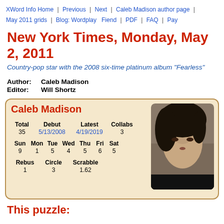XWord Info Home | Previous | Next | Caleb Madison author page | May 2011 grids | Blog: Wordplay Fiend | PDF | FAQ | Pay
New York Times, Monday, May 2, 2011
Country-pop star with the 2008 six-time platinum album "Fearless"
Author: Caleb Madison
Editor: Will Shortz
[Figure (infographic): Author card for Caleb Madison showing stats: Total 35, Debut 5/13/2008, Latest 4/19/2019, Collabs 3, Sun 9, Mon 1, Tue 5, Wed 4, Thu 5, Fri 6, Sat 5, Rebus 1, Circle 3, Scrabble 1.62, with a photo of Caleb Madison]
This puzzle: